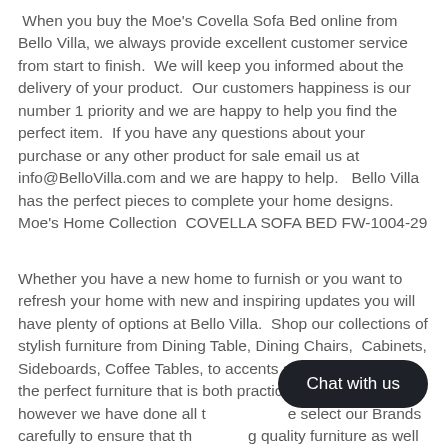When you buy the Moe's Covella Sofa Bed online from Bello Villa, we always provide excellent customer service from start to finish.  We will keep you informed about the delivery of your product.  Our customers happiness is our number 1 priority and we are happy to help you find the perfect item.  If you have any questions about your purchase or any other product for sale email us at info@BelloVilla.com and we are happy to help.   Bello Villa has the perfect pieces to complete your home designs.  Moe's Home Collection  COVELLA SOFA BED FW-1004-29
Whether you have a new home to furnish or you want to refresh your home with new and inspiring updates you will have plenty of options at Bello Villa.  Shop our collections of stylish furniture from Dining Table, Dining Chairs,  Cabinets, Sideboards, Coffee Tables, to accents and more! Finding the perfect furniture that is both practical and challenging, however we have done all t e select our Brands carefully to ensure that th g quality furniture as well as the best customer service.  When